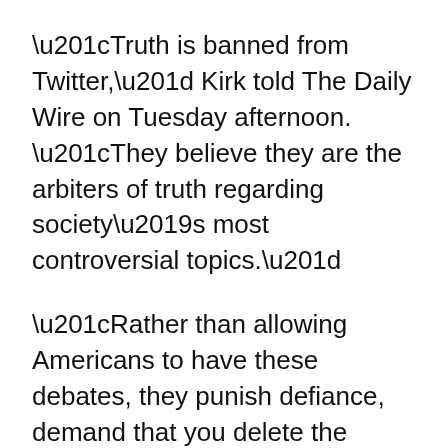“Truth is banned from Twitter,” Kirk told The Daily Wire on Tuesday afternoon. “They believe they are the arbiters of truth regarding society’s most controversial topics.”
“Rather than allowing Americans to have these debates, they punish defiance, demand that you delete the tweet, and if you do, they get to say, ‘see, we are nice, reasonable tyrants,’” he added. “They want submission. We must not give them what they want.”